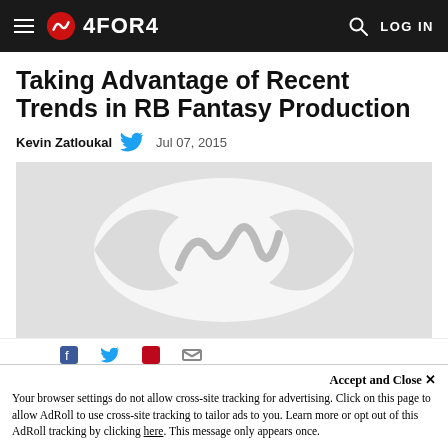4FOR4 navigation bar with logo, hamburger menu, search, and LOG IN
Taking Advantage of Recent Trends in RB Fantasy Production
Kevin Zatloukal  Jul 07, 2015
[Figure (illustration): Hero image placeholder with 4for4 logo watermark on gray background]
Accept and Close ×
Your browser settings do not allow cross-site tracking for advertising. Click on this page to allow AdRoll to use cross-site tracking to tailor ads to you. Learn more or opt out of this AdRoll tracking by clicking here. This message only appears once.